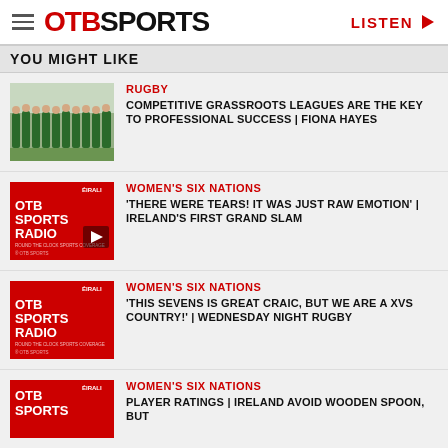OTB SPORTS | LISTEN
YOU MIGHT LIKE
[Figure (photo): Ireland women's rugby team lined up in green jerseys]
RUGBY
COMPETITIVE GRASSROOTS LEAGUES ARE THE KEY TO PROFESSIONAL SUCCESS | FIONA HAYES
[Figure (other): OTB Sports Radio red thumbnail with play button]
WOMEN'S SIX NATIONS
'THERE WERE TEARS! IT WAS JUST RAW EMOTION' | IRELAND'S FIRST GRAND SLAM
[Figure (other): OTB Sports Radio red thumbnail]
WOMEN'S SIX NATIONS
'THIS SEVENS IS GREAT CRAIC, BUT WE ARE A XVS COUNTRY!' | WEDNESDAY NIGHT RUGBY
[Figure (other): OTB Sports Radio red thumbnail]
WOMEN'S SIX NATIONS
PLAYER RATINGS | IRELAND AVOID WOODEN SPOON, BUT